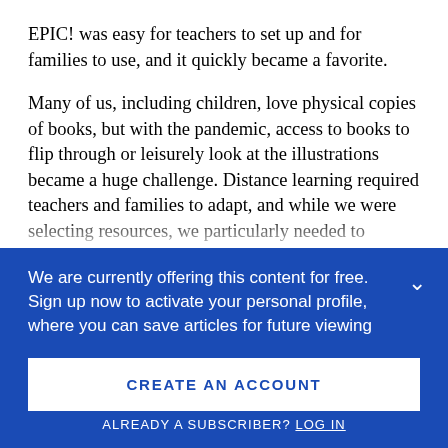EPIC! was easy for teachers to set up and for families to use, and it quickly became a favorite.
Many of us, including children, love physical copies of books, but with the pandemic, access to books to flip through or leisurely look at the illustrations became a huge challenge. Distance learning required teachers and families to adapt, and while we were selecting resources, we particularly needed to consider families that had limited access to books and technology. We needed so...
We are currently offering this content for free. Sign up now to activate your personal profile, where you can save articles for future viewing
CREATE AN ACCOUNT
ALREADY A SUBSCRIBER? LOG IN